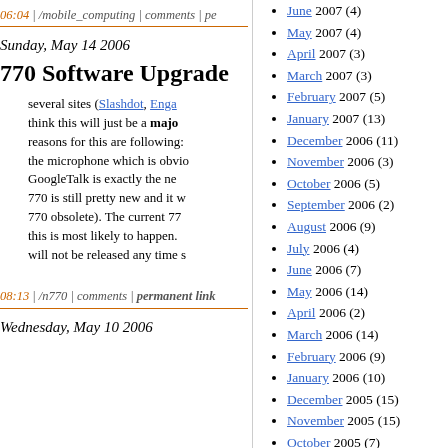06:04 | /mobile_computing | comments | pe...
Sunday, May 14 2006
770 Software Upgrade
several sites (Slashdot, Enga... think this will just be a major... reasons for this are following:... the microphone which is obvio... GoogleTalk is exactly the ne... 770 is still pretty new and it w... 770 obsolete). The current 77... this is most likely to happen.... will not be released any time s...
08:13 | /n770 | comments | permanent link...
Wednesday, May 10 2006
June 2007 (4)
May 2007 (4)
April 2007 (3)
March 2007 (3)
February 2007 (5)
January 2007 (13)
December 2006 (11)
November 2006 (3)
October 2006 (5)
September 2006 (2)
August 2006 (9)
July 2006 (4)
June 2006 (7)
May 2006 (14)
April 2006 (2)
March 2006 (14)
February 2006 (9)
January 2006 (10)
December 2005 (15)
November 2005 (15)
October 2005 (7)
September 2005 (6)
August 2005 (11)
July 2005 (9)